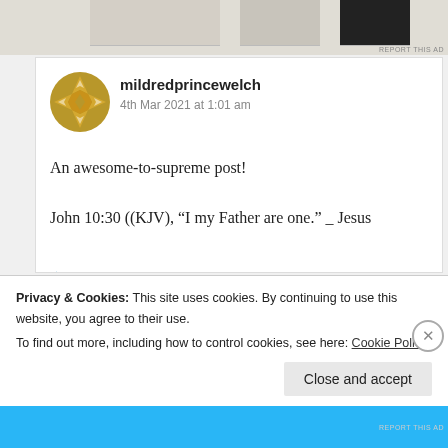[Figure (screenshot): Top ad area with partially visible advertisement images]
mildredprincewelch
4th Mar 2021 at 1:01 am
An awesome-to-supreme post!
John 10:30 ((KJV), “I my Father are one.” _ Jesus
★ Liked by 3 people
Log in to Reply
Privacy & Cookies: This site uses cookies. By continuing to use this website, you agree to their use.
To find out more, including how to control cookies, see here: Cookie Policy